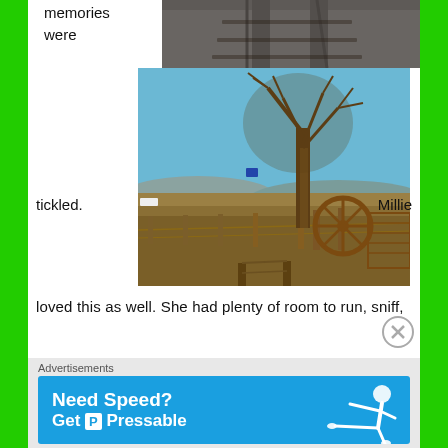memories were
[Figure (photo): Top portion of a photo showing railroad tracks or gravel surface, partially visible at top of page]
[Figure (photo): Outdoor rural scene with a bare deciduous tree, open desert grassland, fence posts, an old wagon wheel, and mountains in the background under a clear blue sky]
tickled.                    Millie
loved this as well. She had plenty of room to run, sniff,
Advertisements
[Figure (screenshot): Advertisement banner: Need Speed? Get Pressable — blue background with bold white text and running figure illustration]